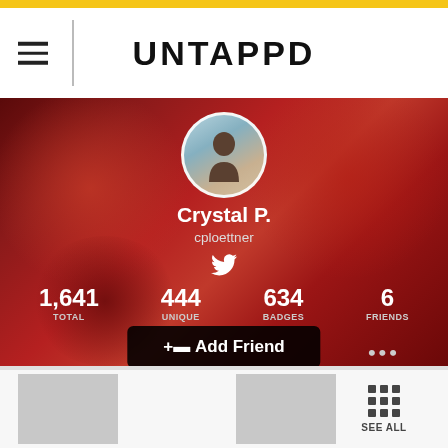[Figure (screenshot): Untappd app header with hamburger menu on left, vertical divider, and UNTAPPD logo centered]
[Figure (photo): User profile banner with blurred beer/drink background. Shows circular avatar with silhouette icon. Name: Crystal P., username: cploettner, Twitter icon. Stats: 1,641 TOTAL, 444 UNIQUE, 634 BADGES, 6 FRIENDS. Add Friend button and ellipsis.]
[Figure (screenshot): Bottom strip with two gray thumbnail boxes and a SEE ALL grid icon section]